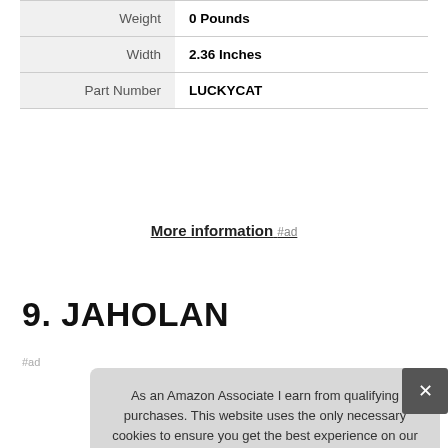| Weight | 0 Pounds |
| Width | 2.36 Inches |
| Part Number | LUCKYCAT |
More information #ad
9. JAHOLAN
#ad
As an Amazon Associate I earn from qualifying purchases. This website uses the only necessary cookies to ensure you get the best experience on our website. More information